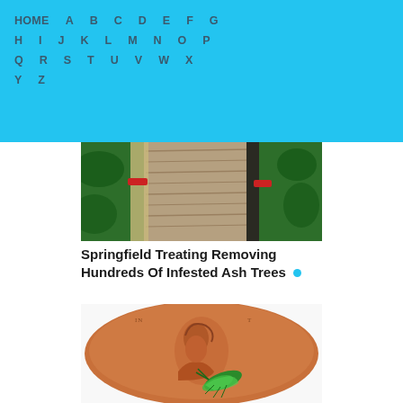HOME A B C D E F G H I J K L M N O P Q R S T U V W X Y Z
[Figure (photo): Close-up photograph of an ash tree trunk wrapped/treated, with red straps or markings visible against green foliage background]
Springfield Treating Removing Hundreds Of Infested Ash Trees
[Figure (photo): Close-up photograph of an emerald ash borer beetle resting on a copper penny, showing the small size of the beetle relative to the coin]